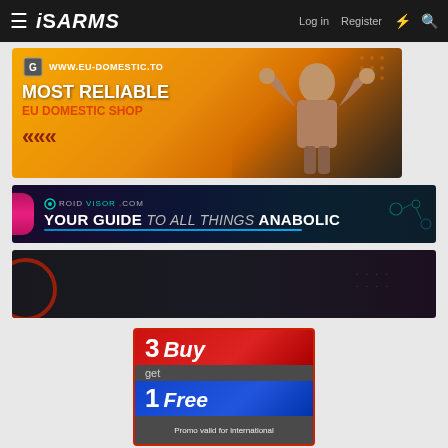ISARMS — Log in | Register
[Figure (infographic): EU-Domestic.TO advertisement banner: orange/gold background with muscular man flexing. Text: www.eu-domestic.to | MOST RELIABLE EU DOMESTIC SHOP]
[Figure (infographic): RoidVisor.com advertisement banner: dark navy background. Text: ROIDVISOR.COM YOUR GUIDE to all things ANABOLIC]
[Figure (infographic): Dark advertisement banner with dark navy/charcoal background and red circular accent]
[Figure (infographic): Buy 3 get 1 Free promo advertisement. Red and blue gradient panels. Text: 3 Buy / get / 1 Free / Promo valid for international warehouse only]